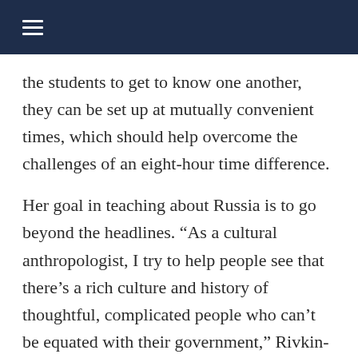≡
the students to get to know one another, they can be set up at mutually convenient times, which should help overcome the challenges of an eight-hour time difference.
Her goal in teaching about Russia is to go beyond the headlines. “As a cultural anthropologist, I try to help people see that there’s a rich culture and history of thoughtful, complicated people who can’t be equated with their government,” Rivkin-Fish said.
“…